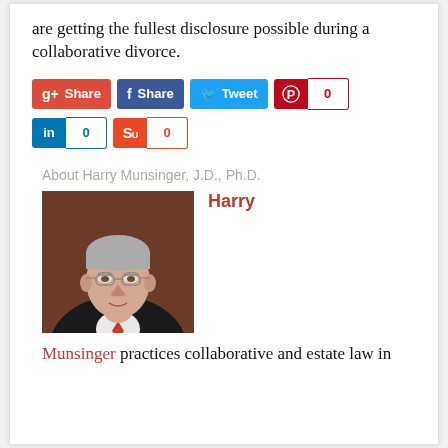are getting the fullest disclosure possible during a collaborative divorce.
[Figure (screenshot): Social media share buttons: Google+ Share, Facebook Share, Twitter Tweet, Pinterest 0, LinkedIn 0, StumbleUpon 0]
About Harry Munsinger, J.D., Ph.D.
[Figure (photo): Professional headshot of Harry Munsinger, an older man in a dark suit with a red tie, glasses, against a brown background.]
Harry
Munsinger practices collaborative and estate law in